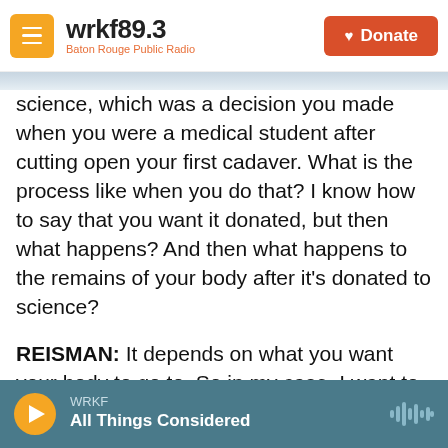wrkf89.3 Baton Rouge Public Radio | Donate
science, which was a decision you made when you were a medical student after cutting open your first cadaver. What is the process like when you do that? I know how to say that you want it donated, but then what happens? And then what happens to the remains of your body after it's donated to science?
REISMAN: It depends on what you want your body to go to. So in my case, I want to donate my body for medical school dissection as I experienced from the first day of med school. So actually, in that case, you actually contact medical schools
WRKF | All Things Considered